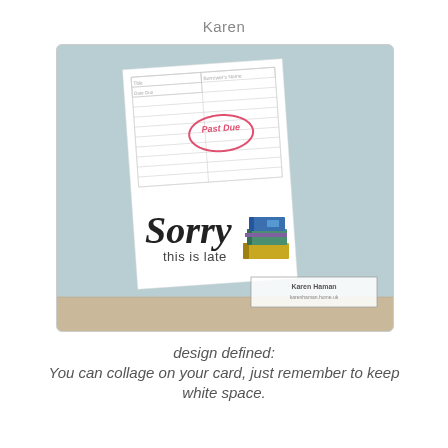Karen
[Figure (photo): A handmade greeting card leaning against a background. The card features a library checkout slip with 'Past Due' stamped in pink, a stack of colorful books illustration, and the words 'Sorry this is late' in large script. A Karen Haman watermark/logo is in the bottom right corner. The card is photographed on a wooden surface with a light teal background.]
design defined:
You can collage on your card, just remember to keep white space.